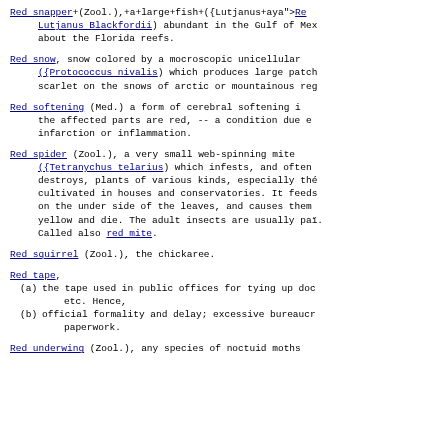Red snapper (Zool.), a large fish ({Lutjanus aya"> Lutjanus Blackfordii) abundant in the Gulf of Mexico and about the Florida reefs.
Red snow, snow colored by a mocroscopic unicellular ({Protococcus nivalis) which produces large patches of scarlet on the snows of arctic or mountainous regions.
Red softening (Med.) a form of cerebral softening in which the affected parts are red, -- a condition due either to infarction or inflammation.
Red spider (Zool.), a very small web-spinning mite ({Tetranychus telarius) which infests, and often destroys, plants of various kinds, especially those cultivated in houses and conservatories. It feeds on the under side of the leaves, and causes them to yellow and die. The adult insects are usually pale. Called also red mite.
Red squirrel (Zool.), the chickaree.
Red tape, (a) the tape used in public offices for tying up documents, etc. Hence, (b) official formality and delay; excessive bureaucratic paperwork.
Red underwing (Zool.), any species of noctuid moths